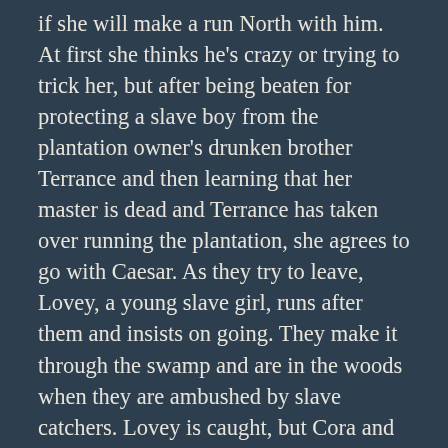if she will make a run North with him. At first she thinks he's crazy or trying to trick her, but after being beaten for protecting a slave boy from the plantation owner's drunken brother Terrance and then learning that her master is dead and Terrance has taken over running the plantation, she agrees to go with Caesar. As they try to leave, Lovey, a young slave girl, runs after them and insists on going. They make it through the swamp and are in the woods when they are ambushed by slave catchers. Lovey is caught, but Cora and Caesar escape, critically injuring a young boy of 12. When they get to town where there is a station master for the Underground Railroad, they learn that the boy they hurt is likely to die,